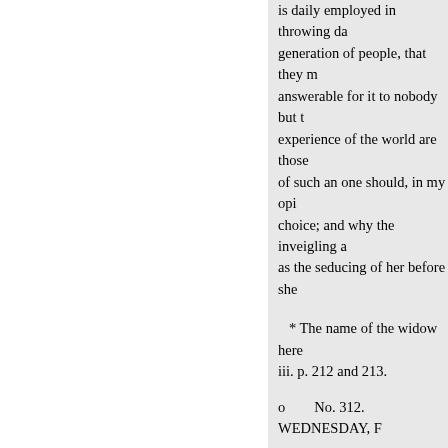is daily employed in throwing da generation of people, that they m answerable for it to nobody but t experience of the world are those of such an one should, in my opi choice; and why the inveigling a as the seducing of her before she
* The name of the widow here iii. p. 212 and 213.
o        No. 312. WEDNESDAY, F
Quod huic officium, quæ laus, qu summum malum sibi persuaserit effugiat dolorem, si id summum
What duty, what praise, or what h himself that pain is the chief evil if he has determined it to be the c
It is a very melancholy reflection know sorrow and pain, to be in th